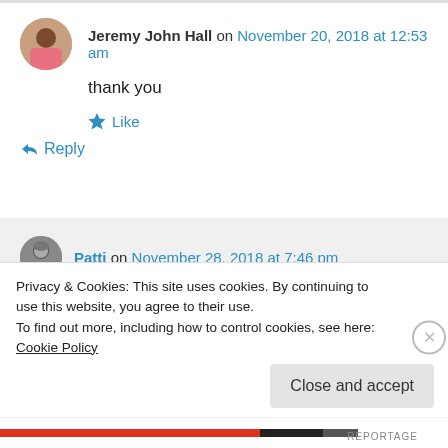Jeremy John Hall on November 20, 2018 at 12:53 am
thank you
★ Like
↪ Reply
Patti on November 28, 2018 at 7:46 pm
You are so welcome.
Privacy & Cookies: This site uses cookies. By continuing to use this website, you agree to their use.
To find out more, including how to control cookies, see here: Cookie Policy
Close and accept